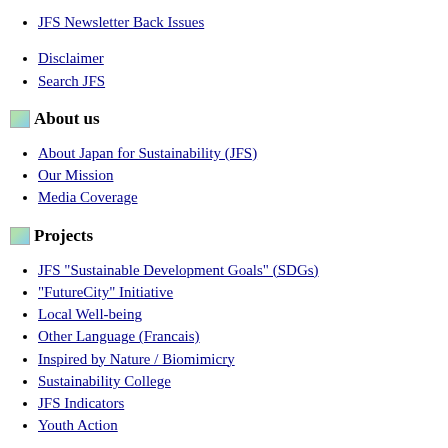JFS Newsletter Back Issues
Disclaimer
Search JFS
About us
About Japan for Sustainability (JFS)
Our Mission
Media Coverage
Projects
JFS "Sustainable Development Goals" (SDGs)
"FutureCity" Initiative
Local Well-being
Other Language (Francais)
Inspired by Nature / Biomimicry
Sustainability College
JFS Indicators
Youth Action